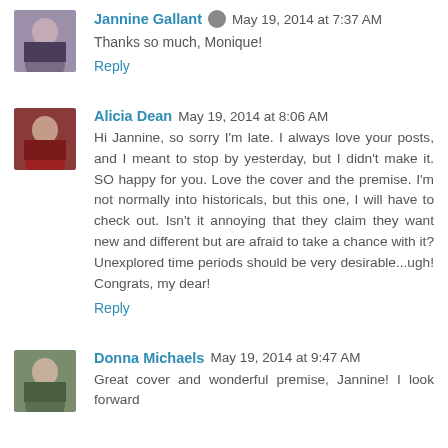Jannine Gallant — May 19, 2014 at 7:37 AM
Thanks so much, Monique!
Reply
Alicia Dean — May 19, 2014 at 8:06 AM
Hi Jannine, so sorry I'm late. I always love your posts, and I meant to stop by yesterday, but I didn't make it. SO happy for you. Love the cover and the premise. I'm not normally into historicals, but this one, I will have to check out. Isn't it annoying that they claim they want new and different but are afraid to take a chance with it? Unexplored time periods should be very desirable...ugh! Congrats, my dear!
Reply
Donna Michaels — May 19, 2014 at 9:47 AM
Great cover and wonderful premise, Jannine! I look forward